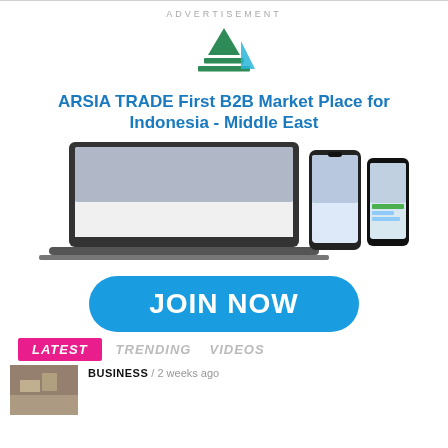ADVERTISEMENT
[Figure (logo): Arsia Trade logo — stylized green and blue triangle/chevron stacked lines]
ARSIA TRADE First B2B Market Place for Indonesia - Middle East
[Figure (screenshot): Laptop, tablet, and smartphone showing Arsia Trade B2B marketplace website and app interfaces]
[Figure (other): JOIN NOW button — large blue rounded rectangle with white bold text]
LATEST   TRENDING   VIDEOS
BUSINESS / 2 weeks ago